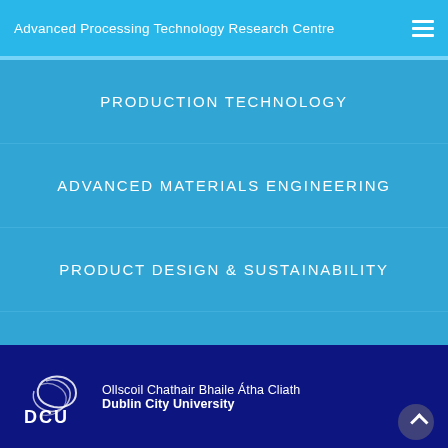Advanced Processing Technology Research Centre
PRODUCTION TECHNOLOGY
ADVANCED MATERIALS ENGINEERING
PRODUCT DESIGN & SUSTAINABILITY
MICRO/NANO SYSTEMS TECHNOLOGY
[Figure (logo): DCU (Dublin City University) logo with text: Ollscoil Chathair Bhaile Átha Cliath / Dublin City University on dark blue background]
Ollscoil Chathair Bhaile Átha Cliath Dublin City University